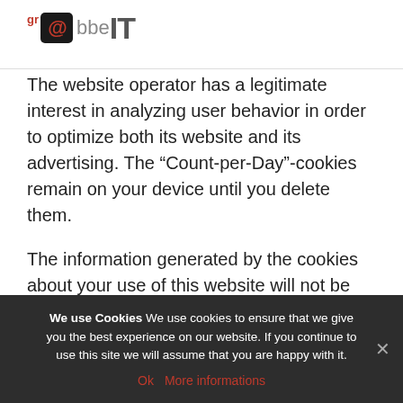[Figure (logo): gr@bbeIT logo with stylized @ symbol, red 'gr' text, grey 'bbe' text and bold 'IT' text]
The website operator has a legitimate interest in analyzing user behavior in order to optimize both its website and its advertising. The “Count-per-Day”-cookies remain on your device until you delete them.
The information generated by the cookies about your use of this website will not be disclosed to third parties. You can prevent these cookies being stored by selecting the appropriate settings in your browser. However, we wish to point out that doing so
We use Cookies We use cookies to ensure that we give you the best experience on our website. If you continue to use this site we will assume that you are happy with it.
Ok   More informations